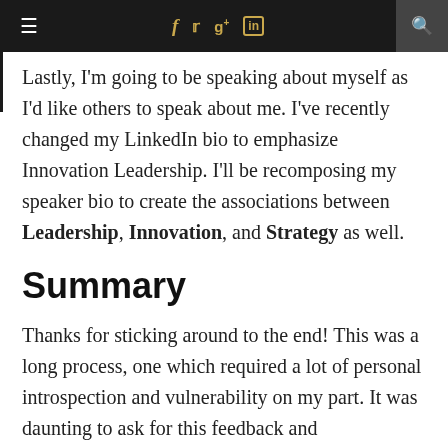≡  f  t  g+  in  🔍
Lastly, I'm going to be speaking about myself as I'd like others to speak about me. I've recently changed my LinkedIn bio to emphasize Innovation Leadership. I'll be recomposing my speaker bio to create the associations between Leadership, Innovation, and Strategy as well.
Summary
Thanks for sticking around to the end! This was a long process, one which required a lot of personal introspection and vulnerability on my part. It was daunting to ask for this feedback and